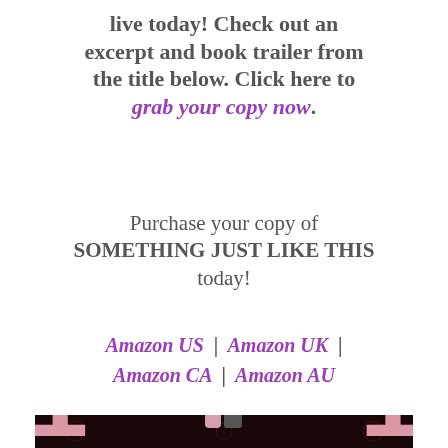live today! Check out an excerpt and book trailer from the title below. Click here to grab your copy now.
Purchase your copy of SOMETHING JUST LIKE THIS today!
Amazon US | Amazon UK | Amazon CA | Amazon AU
[Figure (photo): Book cover for '100' showing a couple (blonde woman and dark-haired man) in the center with large pink numbers on either side, an Empire State Building icon, and a dark decorative background with floral/scroll patterns.]